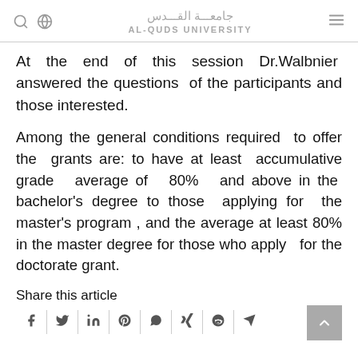Al-Quds University جامعة القدس
At the end of this session Dr.Walbnier answered the questions of the participants and those interested.
Among the general conditions required to offer the grants are: to have at least accumulative grade average of 80% and above in the bachelor's degree to those applying for the master's program , and the average at least 80% in the master degree for those who apply for the doctorate grant.
Share this article